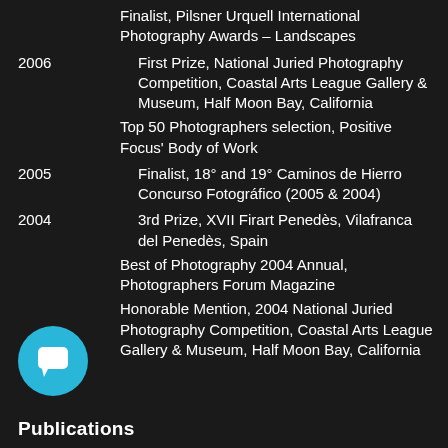Finalist, Pilsner Urquell International Photography Awards – Landscapes
2006   First Prize, National Juried Photography Competition, Coastal Arts League Gallery & Museum, Half Moon Bay, California
Top 50 Photographers selection, Positive Focus' Body of Work
2005   Finalist, 18° and 19° Caminos de Hierro Concurso Fotográfico (2005 & 2004)
2004   3rd Prize, XVII Firart Penedès, Vilafranca del Penedès, Spain
Best of Photography 2004 Annual, Photographers Forum Magazine
Honorable Mention, 2004 National Juried Photography Competition, Coastal Arts League Gallery & Museum, Half Moon Bay, California
[Figure (illustration): Cyan circle icon with a speech/comment bubble symbol]
Publications